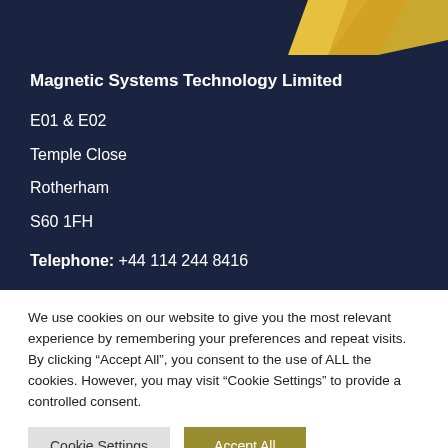[Figure (logo): Partial gold/yellow logo visible at top right against dark navy background]
Magnetic Systems Technology Limited
E01 & E02
Temple Close
Rotherham
S60 1FH
Telephone: +44 114 244 8416
We use cookies on our website to give you the most relevant experience by remembering your preferences and repeat visits. By clicking “Accept All”, you consent to the use of ALL the cookies. However, you may visit “Cookie Settings” to provide a controlled consent.